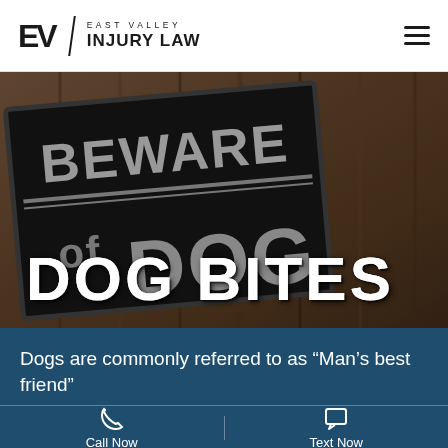EV EAST VALLEY INJURY LAW
[Figure (photo): A 'Beware of Dog' sign mounted on wooden planks, photographed at an angle. The black sign has white/grey text reading BEWARE of DOG in large bold letters with a horizontal line separator.]
DOG BITES
Dogs are commonly referred to as “Man’s best friend”
Call Now
Text Now